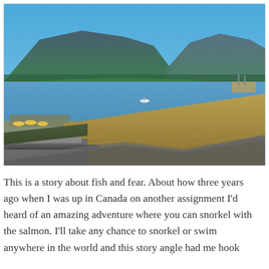[Figure (photo): Aerial/elevated view of Vancouver harbour with calm blue water, forested mountains in the background under a clear blue sky, a green-roofed building structure in the foreground, a marina with yellow umbrellas on the left, and a small boat visible on the water.]
This is a story about fish and fear. About how three years ago when I was up in Canada on another assignment I'd heard of an amazing adventure where you can snorkel with the salmon. I'll take any chance to snorkel or swim anywhere in the world and this story angle had me hook